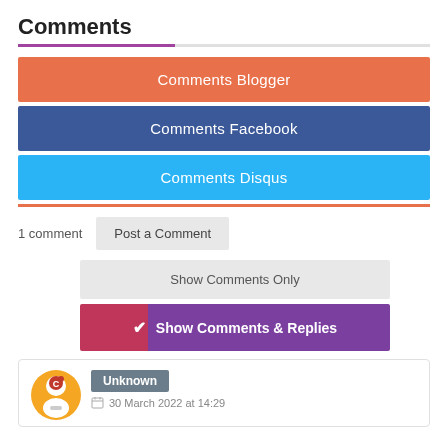Comments
Comments Blogger
Comments Facebook
Comments Disqus
1 comment
Post a Comment
Show Comments Only
✔ Show Comments & Replies
Unknown
30 March 2022 at 14:29